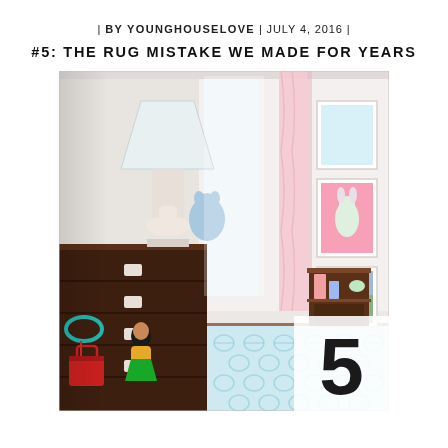| BY YOUNGHOUSELOVE | JULY 4, 2016 |
#5: THE RUG MISTAKE WE MADE FOR YEARS
[Figure (photo): Interior photo of a child's bedroom featuring a dark wood dresser on the left with a white ceramic animal lamp and lampshade on top, toys and a red purse hanging on the side. On the right side there are pink curtains, framed art prints on the wall, and a turquoise/blue geometric patterned rug on the floor. A dark wooden toy shelf is in the background. A large number '5' is overlaid in the bottom right corner on a white triangle background.]